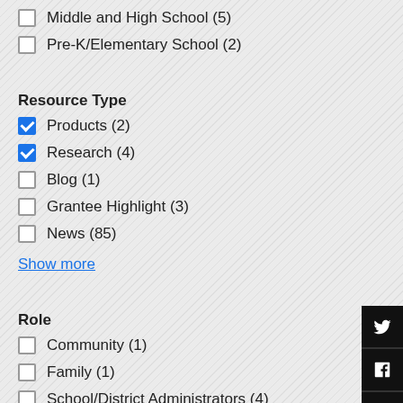Middle and High School (5)
Pre-K/Elementary School (2)
Resource Type
Products (2)
Research (4)
Blog (1)
Grantee Highlight (3)
News (85)
Show more
Role
Community (1)
Family (1)
School/District Administrators (4)
State Administrators (2)